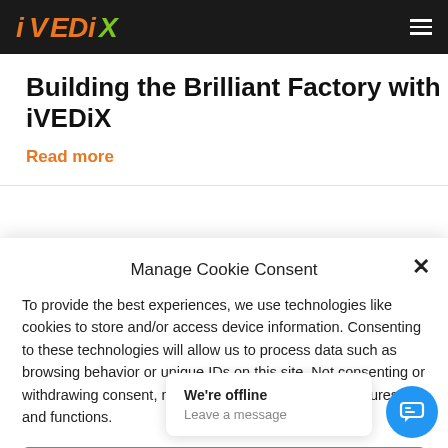iVEDiX
Building the Brilliant Factory with iVEDiX
Read more
Manage Cookie Consent
To provide the best experiences, we use technologies like cookies to store and/or access device information. Consenting to these technologies will allow us to process data such as browsing behavior or unique IDs on this site. Not consenting or withdrawing consent, may adversely affect certain features and functions.
Accept
We're offline
Leave a message